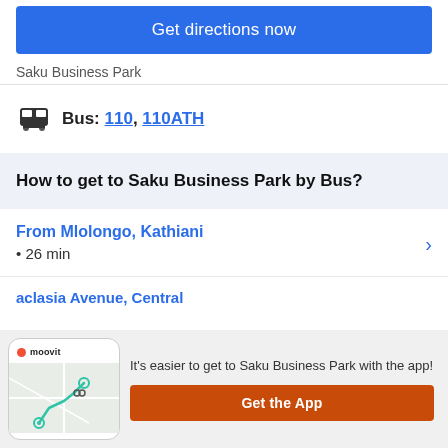Get directions now
Saku Business Park
Bus: 110, 110ATH
How to get to Saku Business Park by Bus?
From Mlolongo, Kathiani • 26 min
aclasia Avenue, Central
It's easier to get to Saku Business Park with the app!
Get the App